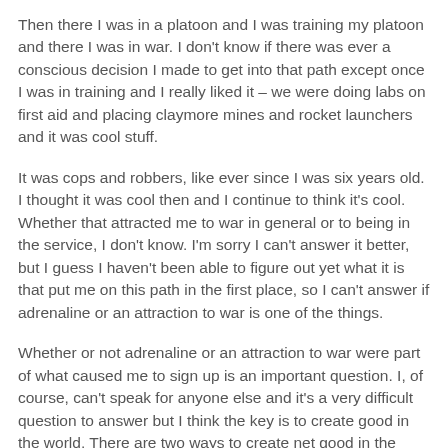Then there I was in a platoon and I was training my platoon and there I was in war. I don't know if there was ever a conscious decision I made to get into that path except once I was in training and I really liked it – we were doing labs on first aid and placing claymore mines and rocket launchers and it was cool stuff.
It was cops and robbers, like ever since I was six years old. I thought it was cool then and I continue to think it's cool. Whether that attracted me to war in general or to being in the service, I don't know. I'm sorry I can't answer it better, but I guess I haven't been able to figure out yet what it is that put me on this path in the first place, so I can't answer if adrenaline or an attraction to war is one of the things.
Whether or not adrenaline or an attraction to war were part of what caused me to sign up is an important question. I, of course, can't speak for anyone else and it's a very difficult question to answer but I think the key is to create good in the world. There are two ways to create net good in the world. One is by creating things that are good and one is by destroying things that are bad.
Everyone is different – I have always had more talent at destroy... So I've been learning to live with that because, of course, it's my...